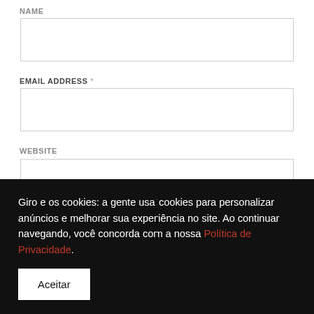NAME
(input field)
EMAIL ADDRESS *
(input field)
WEBSITE
(input field)
SALVAR MEUS DADOS NESTE NAVEGADOR PARA A
Giro e os cookies: a gente usa cookies para personalizar anúncios e melhorar sua experiência no site. Ao continuar navegando, você concorda com a nossa Política de Privacidade.
Aceitar